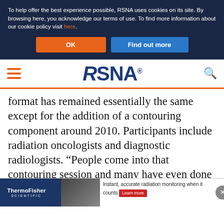To help offer the best experience possible, RSNA uses cookies on its site. By browsing here, you acknowledge our terms of use. To find more information about our cookie policy visit here.
[Figure (screenshot): Cookie consent buttons: orange 'OK' button and blue 'Find out more' button]
[Figure (logo): RSNA logo with hamburger menu icon on left and search icon on right, with orange bottom border]
format has remained essentially the same except for the addition of a contouring component around 2010. Participants include radiation oncologists and diagnostic radiologists. “People come into that contouring session and many have even done homework before the session,” Dr. Haffty said. “It could be focused on pancreatic cancer and the participants were
[Figure (screenshot): ThermoFisher Scientific advertisement banner with radiation monitoring text and Learn more button]